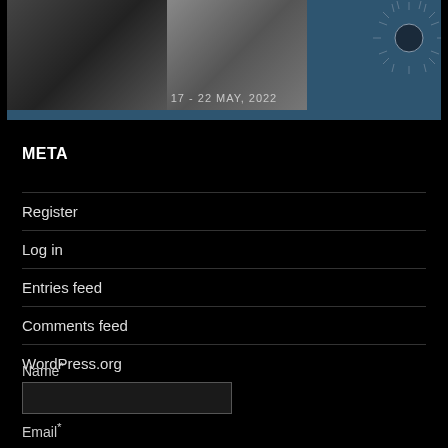[Figure (photo): Banner image with two people in black and white, a sun/starburst graphic on the right, and the date 17 - 22 MAY, 2022 centered at the bottom on a dark blue background]
META
Register
Log in
Entries feed
Comments feed
WordPress.org
Name*
Email*